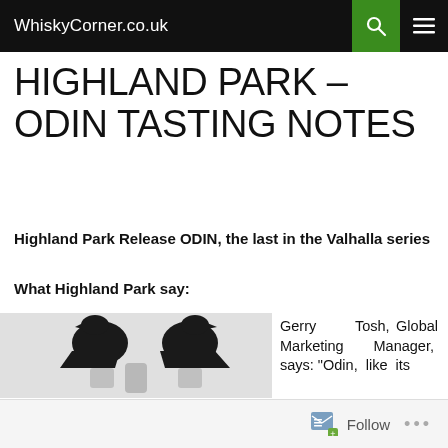WhiskyCorner.co.uk
HIGHLAND PARK – ODIN TASTING NOTES
Highland Park Release ODIN, the last in the Valhalla series
What Highland Park say:
[Figure (photo): Two dark carved raven/bird figurines flanking a decorative element, likely part of the Highland Park Odin bottle packaging]
Gerry Tosh, Global Marketing Manager, says: "Odin, like its
Follow ...